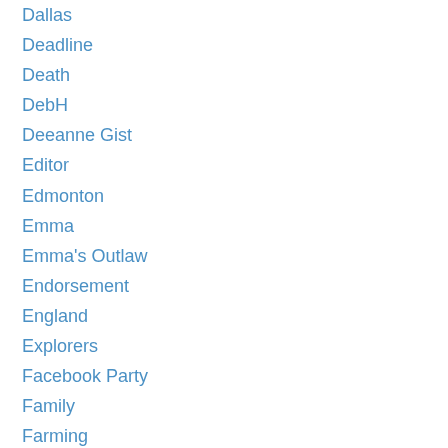Dallas
Deadline
Death
DebH
Deeanne Gist
Editor
Edmonton
Emma
Emma's Outlaw
Endorsement
England
Explorers
Facebook Party
Family
Farming
Fashion
Fauna
FHL
Fiction Finder
Film & TV